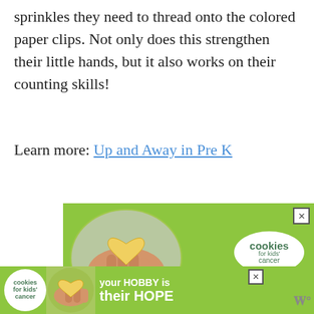sprinkles they need to thread onto the colored paper clips. Not only does this strengthen their little hands, but it also works on their counting skills!
Learn more: Up and Away in Pre K
[Figure (photo): Advertisement banner for Cookies for Kids Cancer showing hands holding a heart-shaped cookie, with text 'your HOBBY is' on a green background with circular logo badge.]
[Figure (photo): Bottom sticky advertisement banner for Cookies for Kids Cancer showing small circle logo, heart cookie image, and text 'your HOBBY is their HOPE' on green background with close button.]